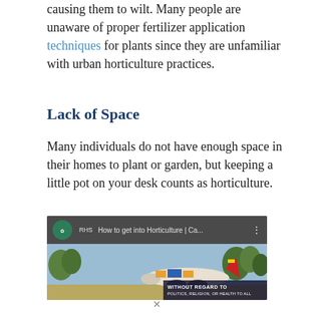causing them to wilt. Many people are unaware of proper fertilizer application techniques for plants since they are unfamiliar with urban horticulture practices.
Lack of Space
Many individuals do not have enough space in their homes to plant or garden, but keeping a little pot on your desk counts as horticulture.
[Figure (screenshot): Embedded video thumbnail from RHS (Royal Horticultural Society) titled 'How to get into Horticulture | Ca...' with a YouTube-style video bar and an airplane cargo image below with an advertisement overlay reading 'WITHOUT REGARD TO POLITICS, RELIGION, OR HEALTH TO ALL']
X